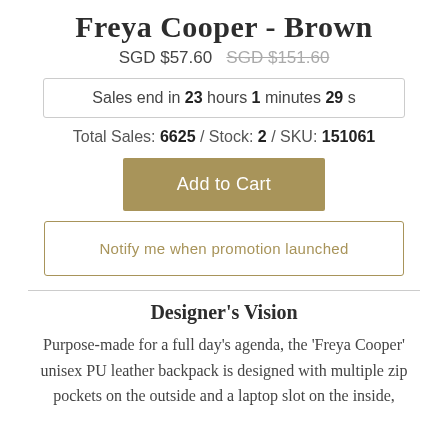Freya Cooper - Brown
SGD $57.60  SGD $151.60
Sales end in 23 hours 1 minutes 29 s
Total Sales: 6625 / Stock: 2 / SKU: 151061
Add to Cart
Notify me when promotion launched
Designer's Vision
Purpose-made for a full day's agenda, the 'Freya Cooper' unisex PU leather backpack is designed with multiple zip pockets on the outside and a laptop slot on the inside,